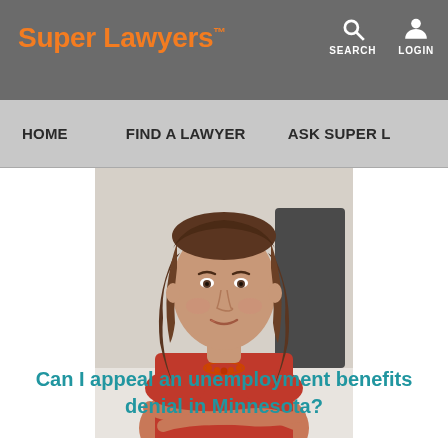Super Lawyers
HOME   FIND A LAWYER   ASK SUPER L...
[Figure (photo): Professional headshot of a woman with long brown wavy hair, wearing a red sleeveless top and a beaded necklace, seated at a desk in an office setting, arms crossed, looking at the camera with a slight smile.]
Can I appeal an unemployment benefits denial in Minnesota?